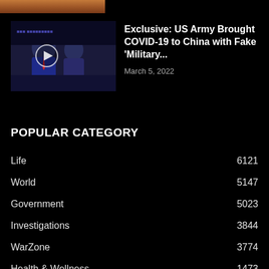[Figure (photo): Partial top strip of a photo showing warm tones, appears to be a person]
[Figure (photo): Thumbnail of two men at a press briefing podium with a play button overlay, appears to show political figures]
Exclusive: US Army Brought COVID-19 to China with Fake 'Military...
March 5, 2022
POPULAR CATEGORY
Life 6121
World 5147
Government 5023
Investigations 3844
WarZone 3774
Health & Wellness 1473
Military 1345
History 1198
Ukraine War 1093